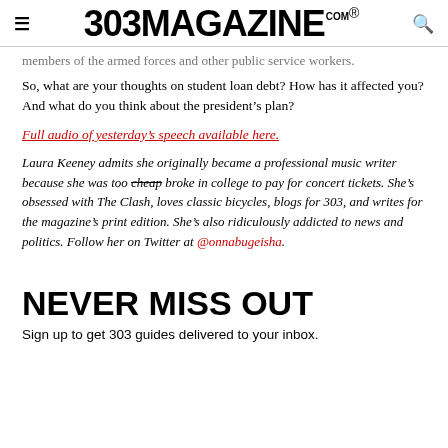≡  303MAGAZINE.COM®  🔍
members of the armed forces and other public service workers.
So, what are your thoughts on student loan debt? How has it affected you? And what do you think about the president's plan?
Full audio of yesterday's speech available here.
Laura Keeney admits she originally became a professional music writer because she was too cheap broke in college to pay for concert tickets. She's obsessed with The Clash, loves classic bicycles, blogs for 303, and writes for the magazine's print edition. She's also ridiculously addicted to news and politics. Follow her on Twitter at @onnabugeisha.
NEVER MISS OUT
Sign up to get 303 guides delivered to your inbox.